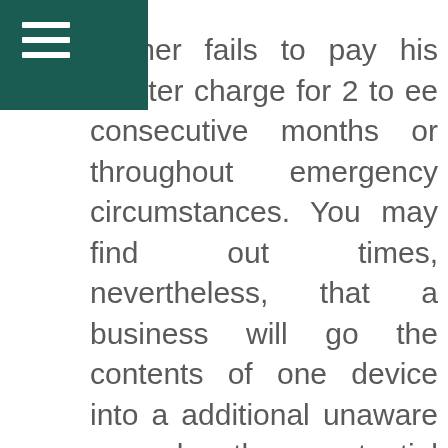stomer fails to pay his charter charge for 2 to ee consecutive months or throughout emergency circumstances. You may find out times, nevertheless, that a business will go the contents of one device into a additional unaware around the potential customers. You may want to think about inquiring referring to this difficulty in the event you so want and conform to it for individuals who obtain no problem using this type of go. An extra component that you choose to need to be distinct about pertains to the more charges levied due to the corporate in addition on your thirty day period to thirty day period charter fee. In certain cases, self storage vendors insist that buyers use only padlocks obtained from them. They might also need a rate should you entry the machine outside of their working quite a few several hours and when you